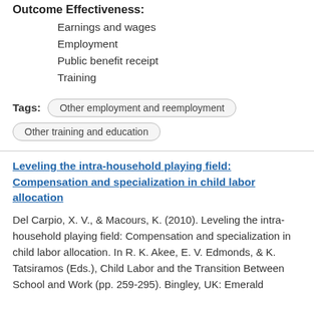Outcome Effectiveness:
Earnings and wages
Employment
Public benefit receipt
Training
Tags: Other employment and reemployment  Other training and education
Leveling the intra-household playing field: Compensation and specialization in child labor allocation
Del Carpio, X. V., & Macours, K. (2010). Leveling the intra-household playing field: Compensation and specialization in child labor allocation. In R. K. Akee, E. V. Edmonds, & K. Tatsiramos (Eds.), Child Labor and the Transition Between School and Work (pp. 259-295). Bingley, UK: Emerald